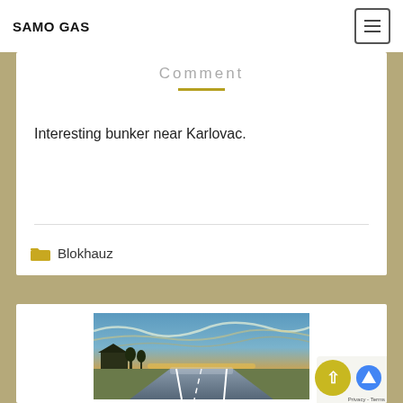SAMO GAS
Comment
Interesting bunker near Karlovac.
Blokhauz
[Figure (photo): Road photo showing a highway at sunrise/sunset with dramatic cloudy sky, silhouettes of trees and a building on the left, mist on the road]